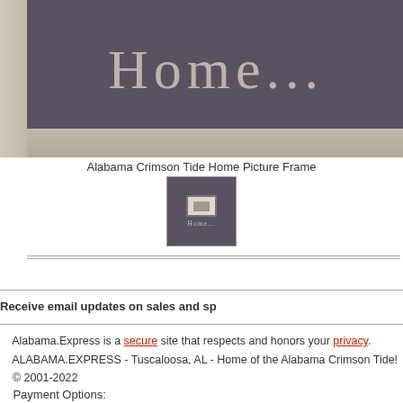[Figure (photo): Alabama Crimson Tide Home Picture Frame product photo showing a dark purple/grey plaque with 'Home...' text in light serif font, mounted on wood-textured background]
Alabama Crimson Tide Home Picture Frame
[Figure (photo): Thumbnail image of the Alabama Crimson Tide Home Picture Frame product, showing small dark framed item with 'Home...' text]
Receive email updates on sales and sp
Alabama.Express is a secure site that respects and honors your privacy.
ALABAMA.EXPRESS - Tuscaloosa, AL - Home of the Alabama Crimson Tide!
© 2001-2022
Payment Options: